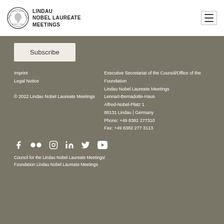[Figure (logo): Lindau Nobel Laureate Meetings logo with circular badge and text]
Subscribe
Imprint
Legal Notice

© 2022 Lindau Nobel Laureate Meetings
Executive Secretariat of the Council/Office of the Foundation
Lindau Nobel Laureate Meetings
Lennart-Bernadotte-Haus
Alfred-Nobel-Platz 1
88131 Lindau | Germany
Phone: +49 8382 277310
Fax: +49 8382 277 3113
[Figure (infographic): Social media icons: Facebook, Flickr, Instagram, LinkedIn, Twitter, YouTube]
Council for the Lindau Nobel Laureate Meetings/ Foundation Lindau Nobel Laureate Meetings